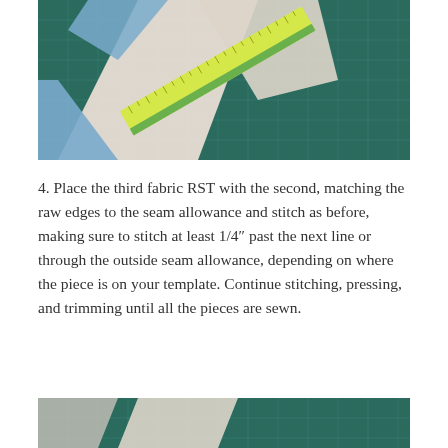[Figure (photo): Top photo showing fabric pieces including blue triangles and a yellow/green ruler or measuring tape on a dark green cutting mat, part of a quilting tutorial.]
4. Place the third fabric RST with the second, matching the raw edges to the seam allowance and stitch as before, making sure to stitch at least 1/4″ past the next line or through the outside seam allowance, depending on where the piece is on your template. Continue stitching, pressing, and trimming until all the pieces are sewn.
[Figure (photo): Bottom photo (partially visible) showing fabric pieces on a dark green cutting mat, part of a quilting tutorial.]